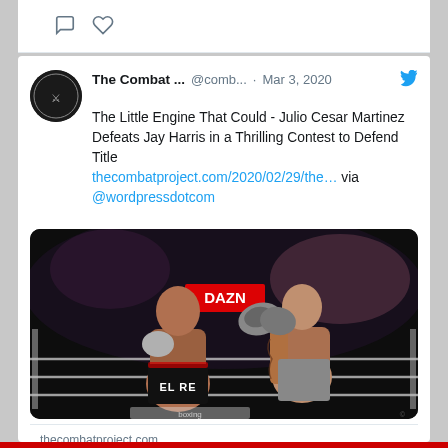[Figure (screenshot): Top of a Twitter/social media card showing comment and heart icons on a white background strip.]
The Combat ... @comb... · Mar 3, 2020
The Little Engine That Could - Julio Cesar Martinez Defeats Jay Harris in a Thrilling Contest to Defend Title
thecombatproject.com/2020/02/29/the... via @wordpressdotcom
[Figure (photo): Boxing match photograph showing two boxers exchanging punches in the ring. The boxer on the left wears trunks labeled 'EL RE' and blue gloves; the boxer on the right has tattoos on his arms. A DAZN sign is visible in the background.]
thecombatproject.com
The Little Engine That Could – Julio Cesar Martinez Defeats Jay Harris in a Thrilling...